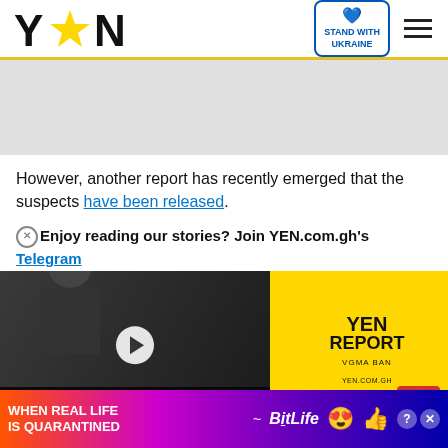YEN - Stand with Ukraine
However, another report has recently emerged that the suspects have been released.
Enjoy reading our stories? Join YEN.com.gh's Telegram
[Figure (screenshot): Video thumbnail showing a person at a press conference with YEN Report panel. Headline: STONEBWOY BREAKS SILENCE ON VGMA BAN: 'VGMA BAN IS A GOOD THING'. YEN Report VGMA BAN panel in yellow.]
on Google Play now and stay up to date with Ghana news
[Figure (advertisement): BitLife advertisement banner with rainbow gradient background reading WHEN REAL LIFE IS QUARANTINED with BitLife logo and emoji characters]